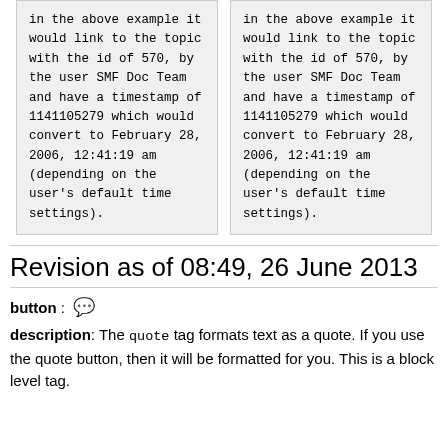in the above example it would link to the topic with the id of 570, by the user SMF Doc Team and have a timestamp of 1141105279 which would convert to February 28, 2006, 12:41:19 am (depending on the user's default time settings).
in the above example it would link to the topic with the id of 570, by the user SMF Doc Team and have a timestamp of 1141105279 which would convert to February 28, 2006, 12:41:19 am (depending on the user's default time settings).
Revision as of 08:49, 26 June 2013
button: [icon]
description: The quote tag formats text as a quote. If you use the quote button, then it will be formatted for you. This is a block level tag.